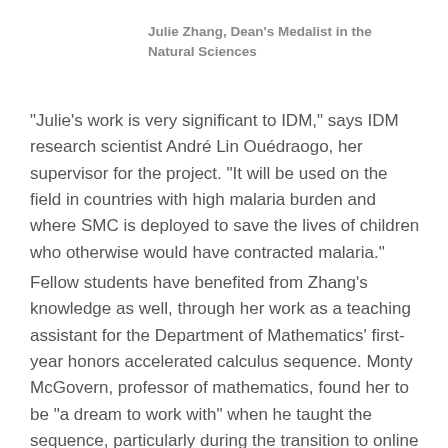Julie Zhang, Dean's Medalist in the Natural Sciences
“Julie’s work is very significant to IDM,” says IDM research scientist André Lin Ouédraogo, her supervisor for the project. “It will be used on the field in countries with high malaria burden and where SMC is deployed to save the lives of children who otherwise would have contracted malaria.”
Fellow students have benefited from Zhang’s knowledge as well, through her work as a teaching assistant for the Department of Mathematics’ first-year honors accelerated calculus sequence. Monty McGovern, professor of mathematics, found her to be “a dream to work with” when he taught the sequence, particularly during the transition to online classes spring quarter due to COVID-19.